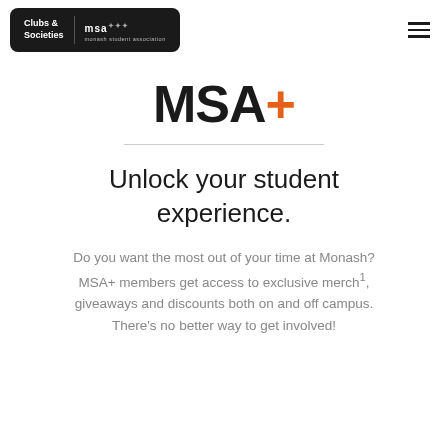Clubs & Societies | msa
MSA+
Unlock your student experience.
Do you want the most out of your time at Monash? MSA+ members get access to exclusive merch¹, giveaways and discounts both on and off campus. There's no better way to get involved!